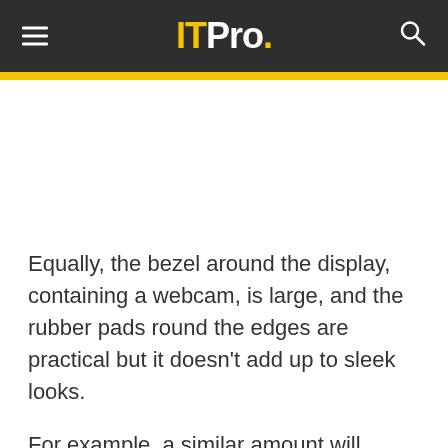ITPro.
Equally, the bezel around the display, containing a webcam, is large, and the rubber pads round the edges are practical but it doesn't add up to sleek looks.
For example, a similar amount will garner you an Apple MacBook, which undoubtedly is a more, desirable laptop computer, but as ever in the world of Windows...